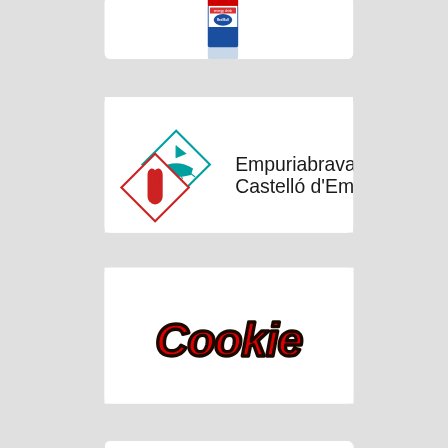[Figure (photo): Partial view of a Red Bull energy drink can (blue and silver), cropped at top of page]
[Figure (logo): Empuriabrava Castelló d'Empúries logo: two diamond shapes (teal with Viking ship, red with hand/bird) and text 'Empuriabrava Castelló d'Empúries']
[Figure (logo): Cookie brand logo in bold red italic bubbly lettering with dark outline on white card]
[Figure (photo): Partial view of another card/logo at the bottom of the page, mostly cut off]